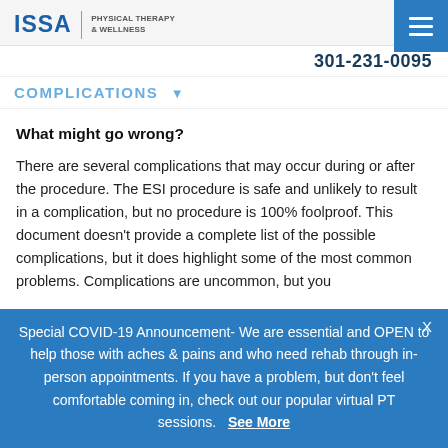ISSA | PHYSICAL THERAPY & WELLNESS
301-231-0095
COMPLICATIONS
What might go wrong?
There are several complications that may occur during or after the procedure. The ESI procedure is safe and unlikely to result in a complication, but no procedure is 100% foolproof. This document doesn't provide a complete list of the possible complications, but it does highlight some of the most common problems. Complications are uncommon, but you
Special COVID-19 Announcement- We are essential and OPEN to help those with aches & pains and who need rehab through in-person appointments. If you have a problem, but don't feel comfortable coming in, check out our popular virtual PT sessions.   See More